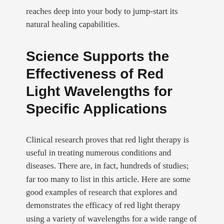reaches deep into your body to jump-start its natural healing capabilities.
Science Supports the Effectiveness of Red Light Wavelengths for Specific Applications
Clinical research proves that red light therapy is useful in treating numerous conditions and diseases. There are, in fact, hundreds of studies; far too many to list in this article. Here are some good examples of research that explores and demonstrates the efficacy of red light therapy using a variety of wavelengths for a wide range of purposes.
nih.gov – The Nuts and Bolts of LLLT (opens in